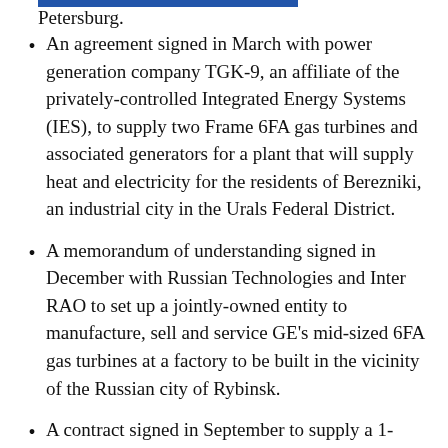Petersburg.
An agreement signed in March with power generation company TGK-9, an affiliate of the privately-controlled Integrated Energy Systems (IES), to supply two Frame 6FA gas turbines and associated generators for a plant that will supply heat and electricity for the residents of Berezniki, an industrial city in the Urals Federal District.
A memorandum of understanding signed in December with Russian Technologies and Inter RAO to set up a jointly-owned entity to manufacture, sell and service GE's mid-sized 6FA gas turbines at a factory to be built in the vicinity of the Russian city of Rybinsk.
A contract signed in September to supply a 1-